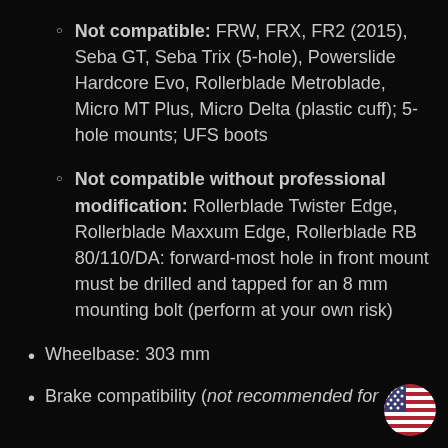Not compatible: FRW, FRX, FR2 (2015), Seba GT, Seba Trix (5-hole), Powerslide Hardcore Evo, Rollerblade Metroblade, Micro MT Plus, Micro Delta (plastic cuff); 5-hole mounts; UFS boots
Not compatible without professional modification: Rollerblade Twister Edge, Rollerblade Maxxum Edge, Rollerblade RB 80/110/DA: forward-most hole in front mount must be drilled and tapped for an 8 mm mounting bolt (perform at your own risk)
Wheelbase: 303 mm
Brake compatibility (not recommended for (partial)